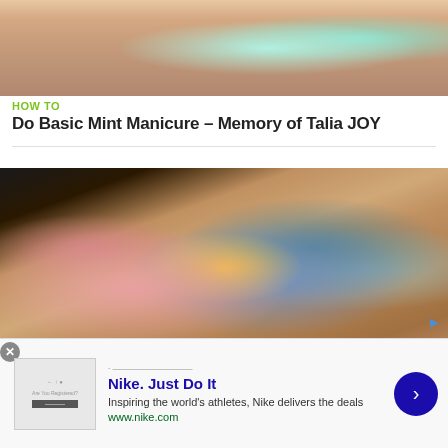[Figure (photo): Close-up of fingers with mint green sparkly nail polish with rhinestones]
HOW TO
Do Basic Mint Manicure – Memory of Talia JOY
[Figure (photo): Close-up of fingers with colorful layered nail art in purple, yellow, pink, and teal colors with a nail polish bottle]
HOW TO
Easy Nail Art for Beginners
[Figure (other): Advertisement banner for Nike. Just Do It with Nike logo, text 'Inspiring the world's athletes, Nike delivers the deals', www.nike.com, and a blue arrow button]